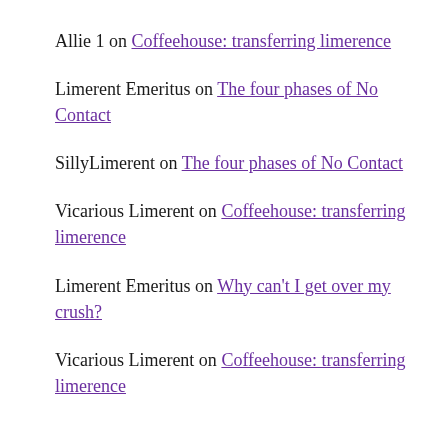Allie 1 on Coffeehouse: transferring limerence
Limerent Emeritus on The four phases of No Contact
SillyLimerent on The four phases of No Contact
Vicarious Limerent on Coffeehouse: transferring limerence
Limerent Emeritus on Why can't I get over my crush?
Vicarious Limerent on Coffeehouse: transferring limerence